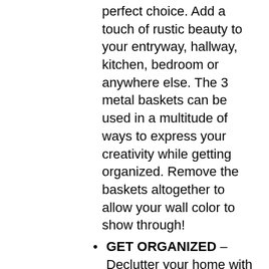perfect choice. Add a touch of rustic beauty to your entryway, hallway, kitchen, bedroom or anywhere else. The 3 metal baskets can be used in a multitude of ways to express your creativity while getting organized. Remove the baskets altogether to allow your wall color to show through!
GET ORGANIZED – Declutter your home with this stylish and practical entryway shelf. Utilize the shelf for extra organizing space or for decorative purposes. Use the baskets and hooks to store all your loose items and give a new clean yet rustic look to your home. Save space, be organized and look great at the same time!
100% SATISFACTION GUARANTEE – At